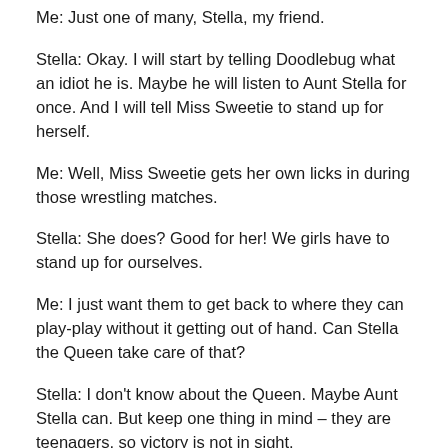Me: Just one of many, Stella, my friend.
Stella: Okay. I will start by telling Doodlebug what an idiot he is. Maybe he will listen to Aunt Stella for once. And I will tell Miss Sweetie to stand up for herself.
Me: Well, Miss Sweetie gets her own licks in during those wrestling matches.
Stella: She does? Good for her! We girls have to stand up for ourselves.
Me: I just want them to get back to where they can play-play without it getting out of hand. Can Stella the Queen take care of that?
Stella: I don't know about the Queen. Maybe Aunt Stella can. But keep one thing in mind – they are teenagers, so victory is not in sight.